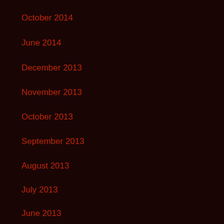October 2014
June 2014
December 2013
November 2013
October 2013
September 2013
August 2013
July 2013
June 2013
Categories
Democracy
Health & Nutrition